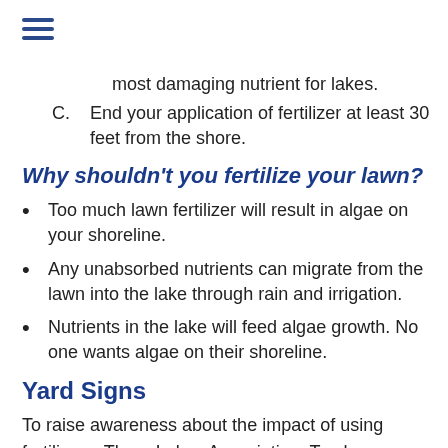[Figure (other): Hamburger menu icon (three horizontal blue lines)]
most damaging nutrient for lakes.
C. End your application of fertilizer at least 30 feet from the shore.
Why shouldn't you fertilize your lawn?
Too much lawn fertilizer will result in algae on your shoreline.
Any unabsorbed nutrients can migrate from the lawn into the lake through rain and irrigation.
Nutrients in the lake will feed algae growth. No one wants algae on their shoreline.
Yard Signs
To raise awareness about the impact of using fertilizers, Three Lakes Association, Torch Conservation Center, Torch Lake Protection Alliance, and Friends of Clam Lake have